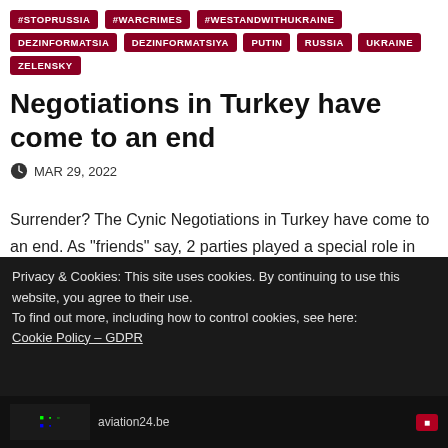#STOPRUSSIA #WARCRIMES #WESTANDWITHUKRAINE DEZINFORMATSIA DEZINFORMATSIYA PUTIN RUSSIA UKRAINE ZELENSKY
Negotiations in Turkey have come to an end
MAR 29, 2022
Surrender? The Cynic Negotiations in Turkey have come to an end. As "friends" say, 2 parties played a special role in lobbying the negotiation track:- Erdogan and Turkish officials-
Privacy & Cookies: This site uses cookies. By continuing to use this website, you agree to their use.
To find out more, including how to control cookies, see here: Cookie Policy – GDPR
Close and accept
aviation24.be